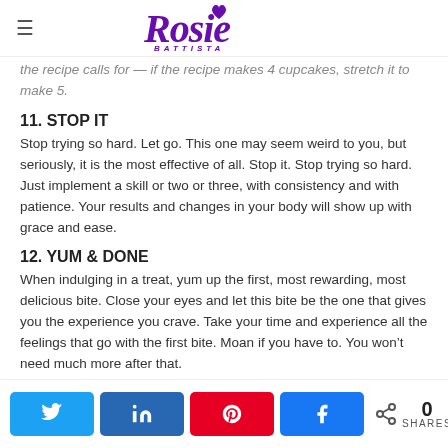Rosie Battista
the recipe calls for — if the recipe makes 4 cupcakes, stretch it to make 5.
11. STOP IT
Stop trying so hard. Let go. This one may seem weird to you, but seriously, it is the most effective of all. Stop it. Stop trying so hard. Just implement a skill or two or three, with consistency and with patience. Your results and changes in your body will show up with grace and ease.
12. YUM & DONE
When indulging in a treat, yum up the first, most rewarding, most delicious bite. Close your eyes and let this bite be the one that gives you the experience you crave. Take your time and experience all the feelings that go with the first bite. Moan if you have to. You won't need much more after that.
Twitter LinkedIn Pinterest Facebook 0 SHARES